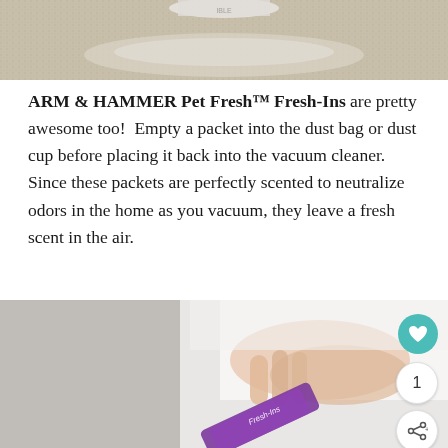[Figure (photo): Close-up photo of powder/granules on carpet with a measuring cup visible at top, cream/beige tones]
ARM & HAMMER Pet Fresh™ Fresh-Ins are pretty awesome too!  Empty a packet into the dust bag or dust cup before placing it back into the vacuum cleaner.  Since these packets are perfectly scented to neutralize odors in the home as you vacuum, they leave a fresh scent in the air.
[Figure (photo): Photo of a hand holding a small purple and white Fresh-Ins packet against a white background with blurred background]